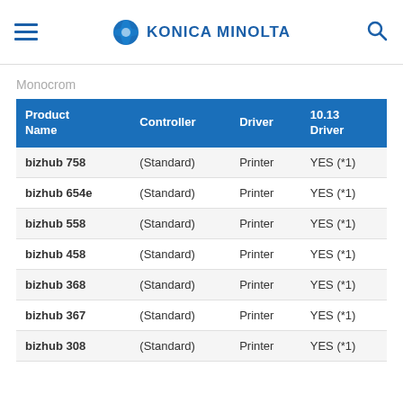KONICA MINOLTA
Monocrom
| Product Name | Controller | Driver | 10.13 Driver |
| --- | --- | --- | --- |
| bizhub 758 | (Standard) | Printer | YES (*1) |
| bizhub 654e | (Standard) | Printer | YES (*1) |
| bizhub 558 | (Standard) | Printer | YES (*1) |
| bizhub 458 | (Standard) | Printer | YES (*1) |
| bizhub 368 | (Standard) | Printer | YES (*1) |
| bizhub 367 | (Standard) | Printer | YES (*1) |
| bizhub 308 | (Standard) | Printer | YES (*1) |